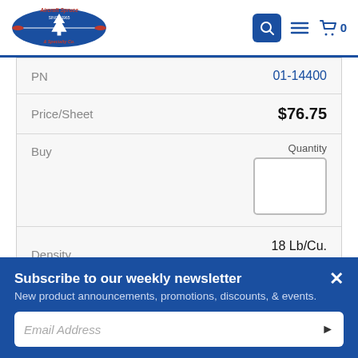[Figure (logo): Aircraft Spruce & Specialty Co. logo with search, menu, and cart icons]
| Field | Value |
| --- | --- |
| PN | 01-14400 |
| Price/Sheet | $76.75 |
| Buy | Quantity (input box) |
| Density | 18 Lb/Cu. Ft. |
| Thickness | 1/4" |
Subscribe to our weekly newsletter
New product announcements, promotions, discounts, & events.
Email Address